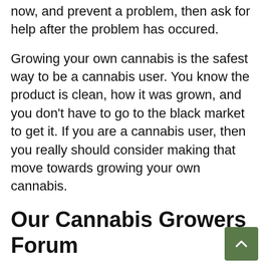now, and prevent a problem, then ask for help after the problem has occured.
Growing your own cannabis is the safest way to be a cannabis user. You know the product is clean, how it was grown, and you don't have to go to the black market to get it. If you are a cannabis user, then you really should consider making that move towards growing your own cannabis.
Our Cannabis Growers Forum
Thanks for reading! You can find more information on anything related to growing in our cannabis grow guides. All